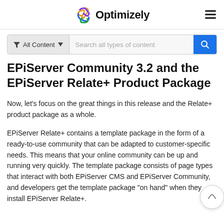Optimizely
EPiServer Community 3.2 and the EPiServer Relate+ Product Package
Now, let’s focus on the great things in this release and the Relate+ product package as a whole.
EPiServer Relate+ contains a template package in the form of a ready-to-use community that can be adapted to customer-specific needs. This means that your online community can be up and running very quickly. The template package consists of page types that interact with both EPiServer CMS and EPiServer Community, and developers get the template package “on hand” when they install EPiServer Relate+.